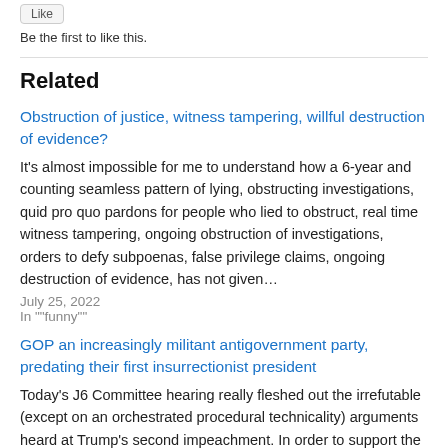Be the first to like this.
Related
Obstruction of justice, witness tampering, willful destruction of evidence?
It's almost impossible for me to understand how a 6-year and counting seamless pattern of lying, obstructing investigations, quid pro quo pardons for people who lied to obstruct, real time witness tampering, ongoing obstruction of investigations, orders to defy subpoenas, false privilege claims, ongoing destruction of evidence, has not given…
July 25, 2022
In ""funny""
GOP an increasingly militant antigovernment party, predating their first insurrectionist president
Today's J6 Committee hearing really fleshed out the irrefutable (except on an orchestrated procedural technicality) arguments heard at Trump's second impeachment. In order to support the former president, it is necessary to subscribe to the wild lies of Sidney "no reasonable person